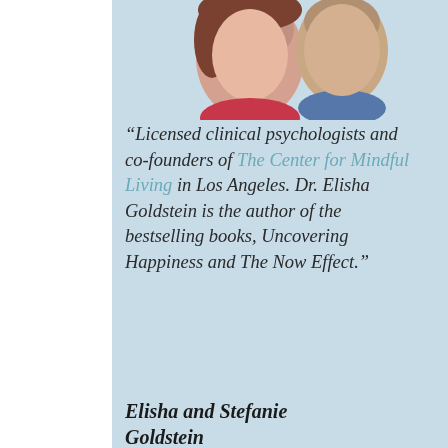[Figure (photo): Two portrait photos of Elisha and Stefanie Goldstein, circular/oval cropped headshots on a light blue background]
“Licensed clinical psychologists and co-founders of The Center for Mindful Living in Los Angeles. Dr. Elisha Goldstein is the author of the bestselling books, Uncovering Happiness and The Now Effect.”
Elisha and Stefanie Goldstein